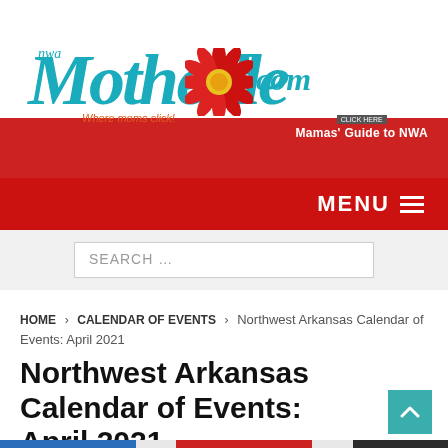[Figure (logo): NWA Motherlode logo with teal cursive text, red daisy flower, and tagline 'Where moms click!' with '.com' and 'Mamas Guide to NWA' text on red wave background]
MENU ≡
SEARCH …
HOME > CALENDAR OF EVENTS > Northwest Arkansas Calendar of Events: April 2021
Northwest Arkansas Calendar of Events: April 2021